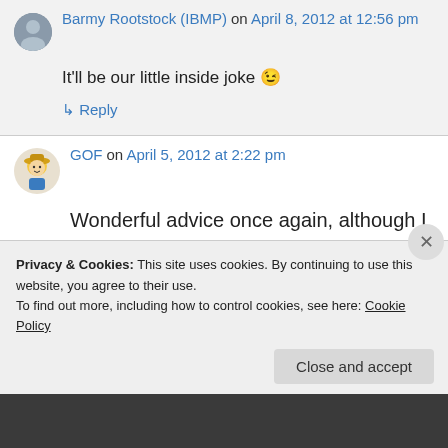Barmy Rootstock (IBMP) on April 8, 2012 at 12:56 pm
It'll be our little inside joke 😉
↳ Reply
GOF on April 5, 2012 at 2:22 pm
Wonderful advice once again, although I am a little worried about drilling a large hole in the floor to get rid of 'stuff' (I'm a gentool man and
Privacy & Cookies: This site uses cookies. By continuing to use this website, you agree to their use.
To find out more, including how to control cookies, see here: Cookie Policy
Close and accept